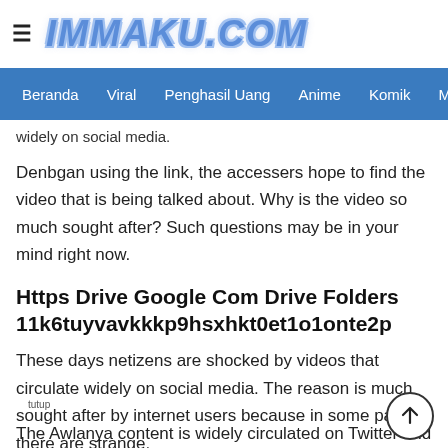≡ IMMAKU.COM
Beranda  Viral  Penghasil Uang  Anime  Komik  Manga
widely on social media.
Denbgan using the link, the accessers hope to find the video that is being talked about. Why is the video so much sought after? Such questions may be in your mind right now.
Https Drive Google Com Drive Folders 11k6tuyvavkkkp9hsxhkt0et1o1onte2p
These days netizens are shocked by videos that circulate widely on social media. The reason is much sought after by internet users because in some parts there are strange.
The Awlanya content is widely circulated on Twitter and